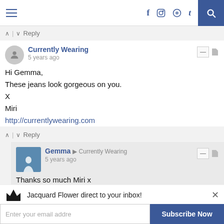Navigation bar with hamburger menu, social icons (f, instagram, pinterest, t), and search button
↑ | ↓ Reply
Currently Wearing
5 years ago

Hi Gemma,
These jeans look gorgeous on you.
X
Miri
http://currentlywearing.com
↑ | ↓ Reply
Gemma → Currently Wearing
5 years ago

Thanks so much Miri x
↑ | ↓ Reply
Holly Stephenson
Jacquard Flower direct to your inbox! Enter your email addre  Subscribe Now